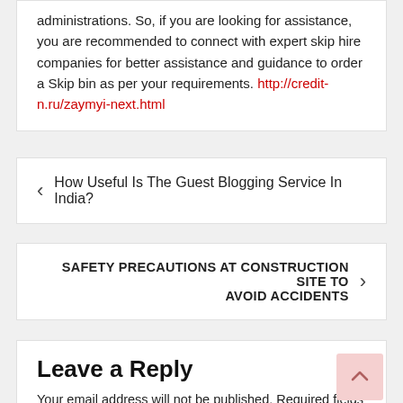administrations. So, if you are looking for assistance, you are recommended to connect with expert skip hire companies for better assistance and guidance to order a Skip bin as per your requirements. http://credit-n.ru/zaymyi-next.html
< How Useful Is The Guest Blogging Service In India?
SAFETY PRECAUTIONS AT CONSTRUCTION SITE TO AVOID ACCIDENTS >
Leave a Reply
Your email address will not be published. Required fields are marked *